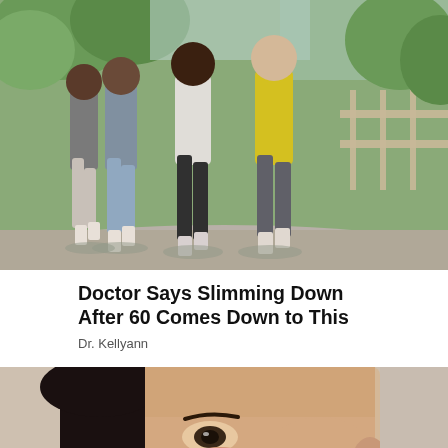[Figure (photo): Four women of different ages walking together outdoors on a path, wearing athletic clothing, trees and fence in background]
Doctor Says Slimming Down After 60 Comes Down to This
Dr. Kellyann
[Figure (photo): Close-up of a woman's face with a white cream or patch applied to her nose area]